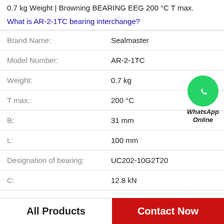0.7 kg Weight | Browning BEARING EEG 200 °C T max.
What is AR-2-1TC bearing interchange?
| Property | Value |
| --- | --- |
| Brand Name: | Sealmaster |
| Model Number: | AR-2-1TC |
| Weight: | 0.7 kg |
| T max.: | 200 °C |
| B: | 31 mm |
| L: | 100 mm |
| Designation of bearing: | UC202-10G2T20 |
| C: | 12.8 kN |
[Figure (logo): WhatsApp Online green circle icon with phone handset, labeled WhatsApp Online]
All Products
Contact Now